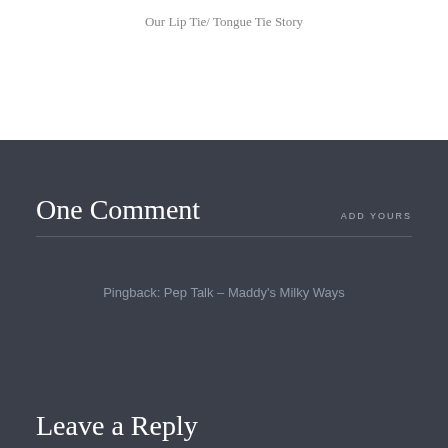Our Lip Tie/ Tongue Tie Story
One Comment
ADD YOURS
Pingback: Pep Talk – Maddy's Milky Ways
Leave a Reply